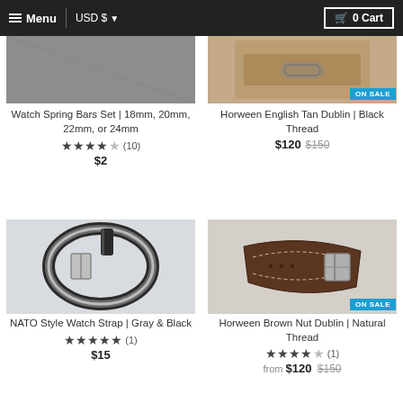Menu  USD $  0 Cart
[Figure (screenshot): Watch Spring Bars Set product image - gray metal surface]
Watch Spring Bars Set | 18mm, 20mm, 22mm, or 24mm
★★★★☆ (10)
$2
[Figure (screenshot): Horween English Tan Dublin watch strap product image with ON SALE badge]
Horween English Tan Dublin | Black Thread
$120  $150
[Figure (screenshot): NATO Style Watch Strap gray and black product image]
NATO Style Watch Strap | Gray & Black
★★★★★ (1)
$15
[Figure (screenshot): Horween Brown Nut Dublin watch strap product image with ON SALE badge]
Horween Brown Nut Dublin | Natural Thread
★★★★☆ (1)
from $120  $150